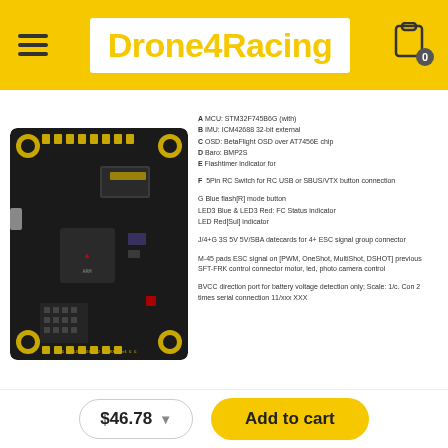Drone4Racing
[Figure (photo): Close-up photo of a black flight controller PCB (OMNIBUS F4) with various electronic components, connectors, and labels visible on the board.]
A MCU: STM32F745B6G (with)
B IMU: ICM42688 32-bit external
C OSD: BetaFlight OSD over AT7456E chip
D Baro: BMP2S
E Flashtimer indicator for
F 5Pin RC Switch for RC USB or SBUS/VTX button connection
G Blue flash[R] mode button
LED3 Blue & LED3 Red: FC Status indicator
LED Red[Sul] indicator
J/4+G 3S 5V 5V/SBA datecards for 4+ ESC signal group connector
M-45 pads ESC signal on [PWM, OneShot, MultiShot, DSHOT] previous SFT-FRK control connector motor, led, photo camera control
BVCC direction port for battery voltage detection only; Scale: 1/c. Con 2 times serial connection 11/xxx XXX
$46.78
Add to cart